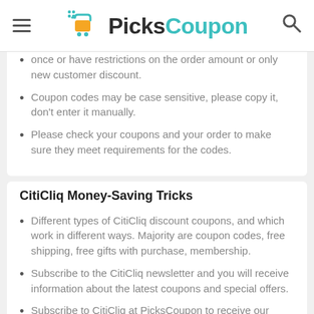PicksCoupon
once or have restrictions on the order amount or only new customer discount.
Coupon codes may be case sensitive, please copy it, don't enter it manually.
Please check your coupons and your order to make sure they meet requirements for the codes.
CitiCliq Money-Saving Tricks
Different types of CitiCliq discount coupons, and which work in different ways. Majority are coupon codes, free shipping, free gifts with purchase, membership.
Subscribe to the CitiCliq newsletter and you will receive information about the latest coupons and special offers.
Subscribe to CitiCliq at PicksCoupon to receive our